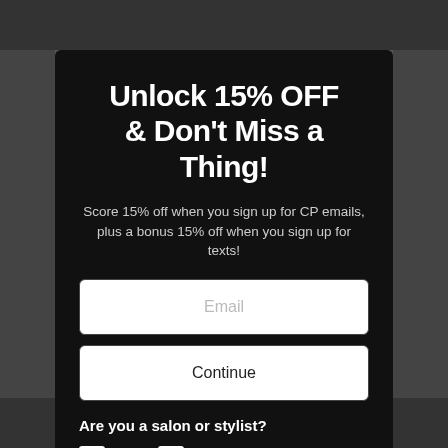Unlock 15% OFF & Don't Miss a Thing!
Score 15% off when you sign up for CP emails, plus a bonus 15% off when you sign up for texts!
Email
Continue
Are you a salon or stylist?
Yes
No
Rewards